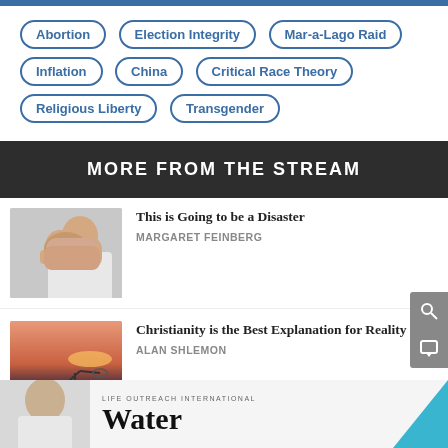Abortion
Election Integrity
Mar-a-Lago Raid
Inflation
China
Critical Race Theory
Religious Liberty
Transgender
MORE FROM THE STREAM
[Figure (photo): Person covering face with hands]
This is Going to be a Disaster
MARGARET FEINBERG
[Figure (photo): Silhouette of person with telescope against sunset sky]
Christianity is the Best Explanation for Reality
ALAN SHLEMON
[Figure (photo): Advertisement: Life Outreach International Water]